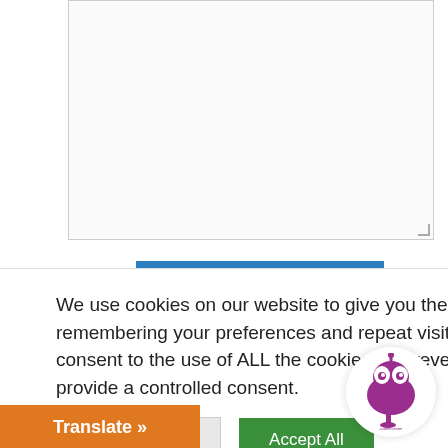[Figure (screenshot): A textarea form input with resize handle in the bottom-right corner]
[Figure (screenshot): A blue 'Send' button]
We use cookies on our website to give you the most relevant experience by remembering your preferences and repeat visits. By clicking "Accept All", you consent to the use of ALL the cookies. However, you may visit "Cookie Settings" to provide a controlled consent.
[Figure (screenshot): Cookie Settings button (grey) and Accept All button (green), with a purple robot/monster logo circle on the right]
[Figure (screenshot): Orange 'Translate »' bar at the bottom left]